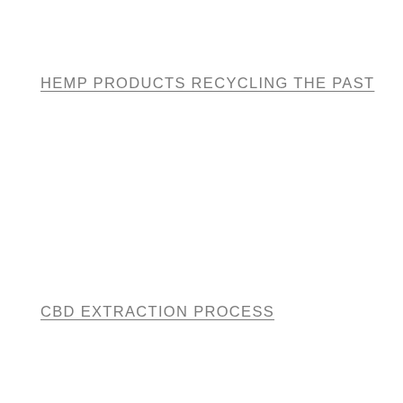HEMP PRODUCTS RECYCLING THE PAST
CBD EXTRACTION PROCESS